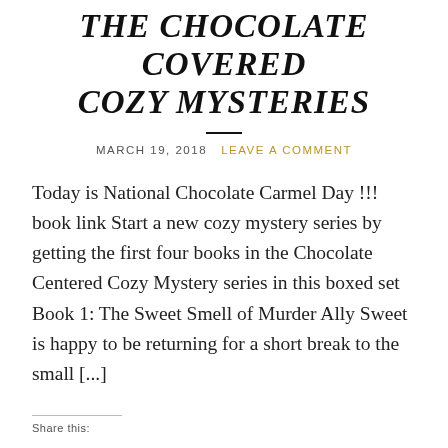THE CHOCOLATE COVERED COZY MYSTERIES
MARCH 19, 2018   LEAVE A COMMENT
Today is National Chocolate Carmel Day !!!    book link Start a new cozy mystery series by getting the first four books in the Chocolate Centered Cozy Mystery series in this boxed set Book 1: The Sweet Smell of Murder Ally Sweet is happy to be returning for a short break to the small [...]
Share this: